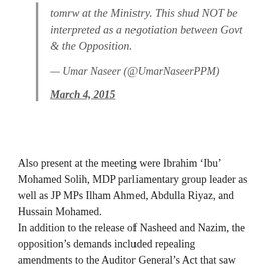tomrw at the Ministry. This shud NOT be interpreted as a negotiation between Govt & the Opposition.
— Umar Naseer (@UmarNaseerPPM) March 4, 2015
Also present at the meeting were Ibrahim 'Ibu' Mohamed Solih, MDP parliamentary group leader as well as JP MPs Ilham Ahmed, Abdulla Riyaz, and Hussain Mohamed.
In addition to the release of Nasheed and Nazim, the opposition's demands included repealing amendments to the Auditor General's Act that saw the removal of former Auditor General Niyaz Ibrahim, empowering local councils, and